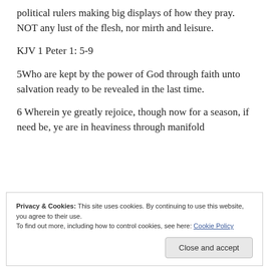political rulers making big displays of how they pray. NOT any lust of the flesh, nor mirth and leisure.
KJV 1 Peter 1: 5-9
5Who are kept by the power of God through faith unto salvation ready to be revealed in the last time.
6 Wherein ye greatly rejoice, though now for a season, if need be, ye are in heaviness through manifold
Privacy & Cookies: This site uses cookies. By continuing to use this website, you agree to their use.
To find out more, including how to control cookies, see here: Cookie Policy
might be found unto praise and honour